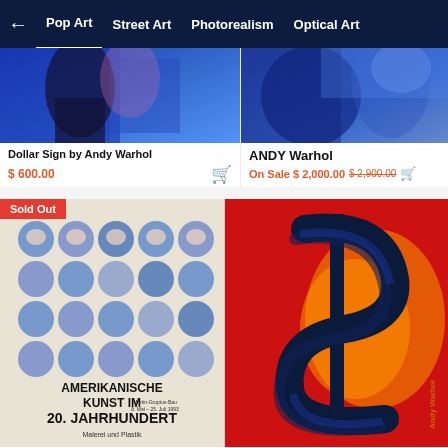← Pop Art  Street Art  Photorealism  Optical Art
[Figure (photo): Abstract blue/purple painting artwork image (Dollar Sign by Andy Warhol)]
Dollar Sign by Andy Warhol
$ 600.00
ANDY Warhol
On Sale $ 2,000.00 $ 2,900.00
[Figure (photo): Amerikanische Kunst im 20. Jahrhundert poster with Marilyn Monroe grid images. Sold Out badge shown.]
[Figure (photo): Dollar Sign 1982 by Andy Warhol - red background with blue and orange dollar sign artwork]
DOLLAR SIGN,1982 by ANDY